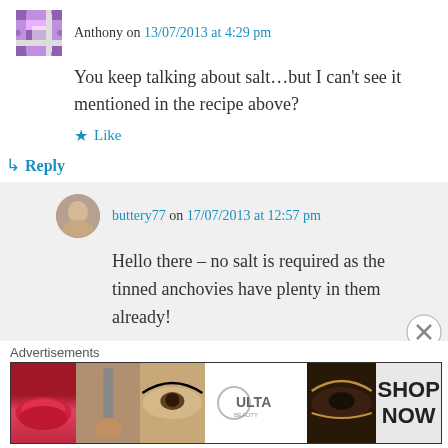Anthony on 13/07/2013 at 4:29 pm
You keep talking about salt...but I can't see it mentioned in the recipe above?
Like
Reply
buttery77 on 17/07/2013 at 12:57 pm
Hello there – no salt is required as the tinned anchovies have plenty in them already!
[Figure (screenshot): Advertisement banner for ULTA beauty showing makeup images and 'SHOP NOW' text]